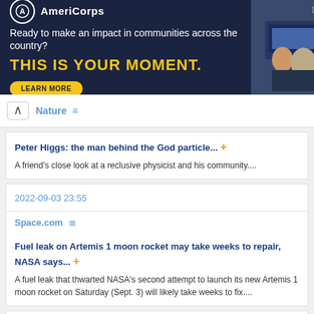[Figure (other): AmeriCorps advertisement banner with dark blue background. Logo with circle and A icon, tagline 'Ready to make an impact in communities across the country?', bold yellow text 'THIS IS YOUR MOMENT.', and a yellow 'LEARN MORE' button. Right side shows photo of people at computers.]
Nature
Peter Higgs: the man behind the God particle... +
A friend's close look at a reclusive physicist and his community....
2022-09-03 23:55
Space.com
Fuel leak on Artemis 1 moon rocket may take weeks to repair, NASA says... +
A fuel leak that thwarted NASA's second attempt to launch its new Artemis 1 moon rocket on Saturday (Sept. 3) will likely take weeks to fix....
2022-09-03 21:05